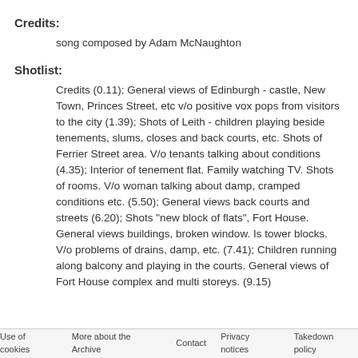Credits:
song composed by Adam McNaughton
Shotlist:
Credits (0.11); General views of Edinburgh - castle, New Town, Princes Street, etc v/o positive vox pops from visitors to the city (1.39); Shots of Leith - children playing beside tenements, slums, closes and back courts, etc. Shots of Ferrier Street area. V/o tenants talking about conditions (4.35); Interior of tenement flat. Family watching TV. Shots of rooms. V/o woman talking about damp, cramped conditions etc. (5.50); General views back courts and streets (6.20); Shots "new block of flats", Fort House. General views buildings, broken window. Is tower blocks. V/o problems of drains, damp, etc. (7.41); Children running along balcony and playing in the courts. General views of Fort House complex and multi storeys. (9.15)
Use of cookies   More about the Archive   Contact   Privacy notices   Takedown policy